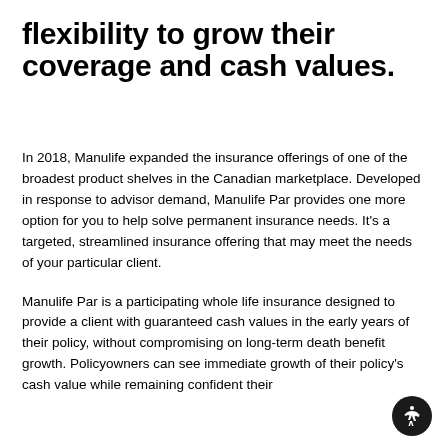flexibility to grow their coverage and cash values.
In 2018, Manulife expanded the insurance offerings of one of the broadest product shelves in the Canadian marketplace. Developed in response to advisor demand, Manulife Par provides one more option for you to help solve permanent insurance needs. It's a targeted, streamlined insurance offering that may meet the needs of your particular client.
Manulife Par is a participating whole life insurance designed to provide a client with guaranteed cash values in the early years of their policy, without compromising on long-term death benefit growth. Policyowners can see immediate growth of their policy's cash value while remaining confident their